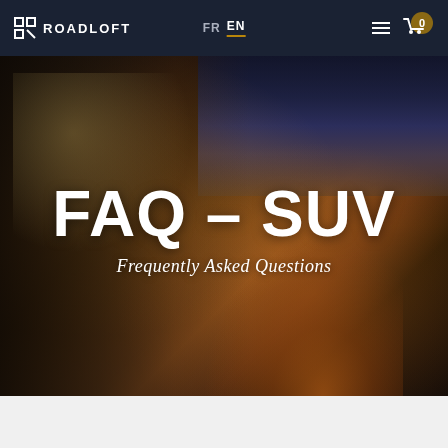ROADLOFT | FR EN | Navigation menu | Cart 0
[Figure (photo): Hero image of an SUV with open tailgate at dusk/night, interior lit with warm fairy lights, campfire glow visible in background field, overlaid with large text FAQ – SUV and subtitle Frequently Asked Questions]
FAQ – SUV
Frequently Asked Questions